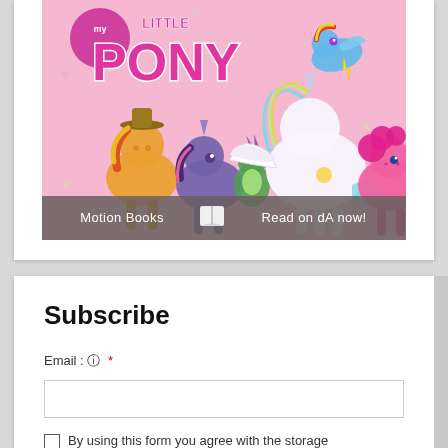[Figure (illustration): My Little Pony branded image showing colorful cartoon ponies including Princess Celestia, Rainbow Dash, Applejack, Twilight Sparkle, Spike, Pinkie Pie, and Rarity on a pink background with hearts. Banner at bottom reads 'Motion Books [book icon] Read on dA now!']
Subscribe
Email : ? *
By using this form you agree with the storage